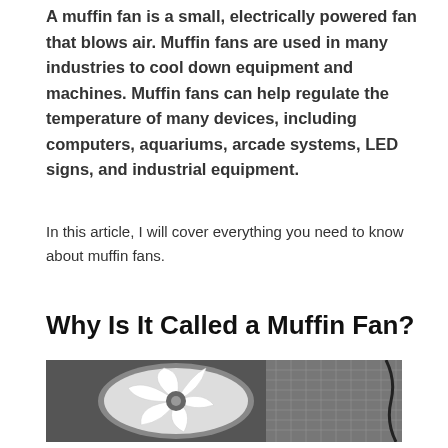A muffin fan is a small, electrically powered fan that blows air. Muffin fans are used in many industries to cool down equipment and machines. Muffin fans can help regulate the temperature of many devices, including computers, aquariums, arcade systems, LED signs, and industrial equipment.
In this article, I will cover everything you need to know about muffin fans.
Why Is It Called a Muffin Fan?
[Figure (photo): Close-up photo of a muffin fan showing white fan blades and circular metal housing]